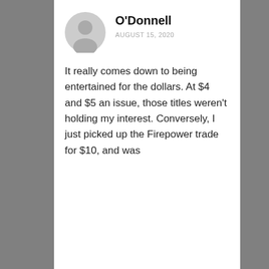[Figure (illustration): Circular grey avatar/profile placeholder icon]
O'Donnell
AUGUST 15, 2020
It really comes down to being entertained for the dollars. At $4 and $5 an issue, those titles weren't holding my interest. Conversely, I just picked up the Firepower trade for $10, and was entertained